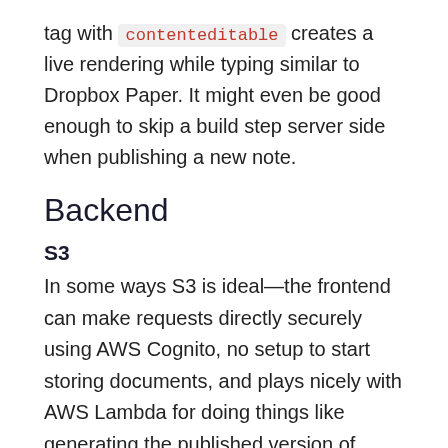tag with contenteditable creates a live rendering while typing similar to Dropbox Paper. It might even be good enough to skip a build step server side when publishing a new note.
Backend
S3
In some ways S3 is ideal—the frontend can make requests directly securely using AWS Cognito, no setup to start storing documents, and plays nicely with AWS Lambda for doing things like generating the published version of notes.